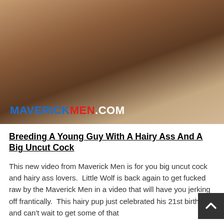[Figure (photo): Two men on a bed, intimate photograph, with MAVERICKMEN.COM watermark in lower left corner]
Breeding A Young Guy With A Hairy Ass And A Big Uncut Cock
This new video from Maverick Men is for you big uncut cock and hairy ass lovers.  Little Wolf is back again to get fucked raw by the Maverick Men in a video that will have you jerking off frantically.  This hairy pup just celebrated his 21st birthday and can't wait to get some of that